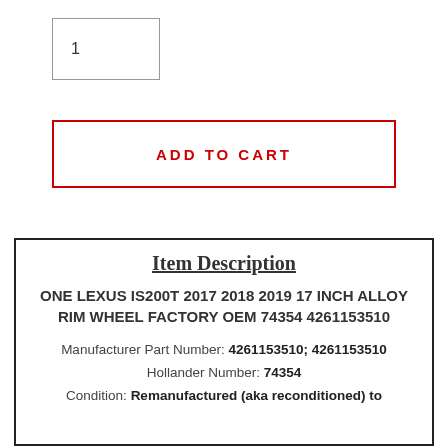1
ADD TO CART
Item Description
ONE LEXUS IS200T 2017 2018 2019 17 INCH ALLOY RIM WHEEL FACTORY OEM 74354 4261153510
Manufacturer Part Number: 4261153510; 4261153510
Hollander Number: 74354
Condition: Remanufactured (aka reconditioned) to